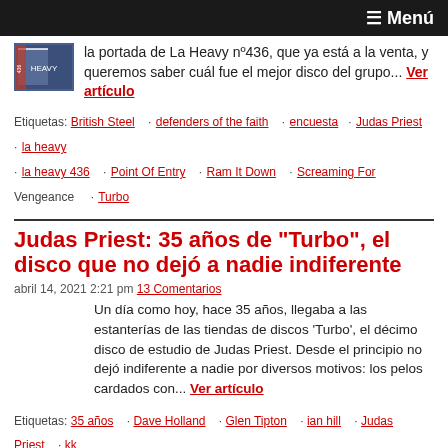≡ Menú
la portada de La Heavy nº436, que ya está a la venta, y queremos saber cuál fue el mejor disco del grupo... Ver artículo
Etiquetas: British Steel · defenders of the faith · encuesta · Judas Priest · la heavy · la heavy 436 · Point Of Entry · Ram It Down · Screaming For Vengeance · Turbo
Judas Priest: 35 años de "Turbo", el disco que no dejó a nadie indiferente
abril 14, 2021 2:21 pm 13 Comentarios
Un día como hoy, hace 35 años, llegaba a las estanterías de las tiendas de discos 'Turbo', el décimo disco de estudio de Judas Priest. Desde el principio no dejó indiferente a nadie por diversos motivos: los pelos cardados con... Ver artículo
Etiquetas: 35 años · Dave Holland · Glen Tipton · ian hill · Judas Priest · kk